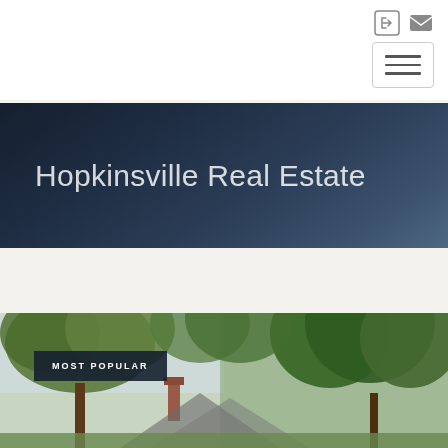Navigation icons (login, mail) and hamburger menu button
Hopkinsville Real Estate
[Figure (photo): Exterior photo of a residential property surrounded by large green trees, with a brick chimney visible and tall trees on the right side. A 'MOST POPULAR' badge overlay appears in the upper-left of the image.]